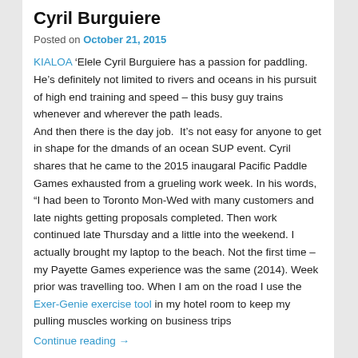Cyril Burguiere
Posted on October 21, 2015
KIALOA 'Elele Cyril Burguiere has a passion for paddling. He's definitely not limited to rivers and oceans in his pursuit of high end training and speed – this busy guy trains whenever and wherever the path leads. And then there is the day job. It's not easy for anyone to get in shape for the dmands of an ocean SUP event. Cyril shares that he came to the 2015 inaugaral Pacific Paddle Games exhausted from a grueling work week. In his words, "I had been to Toronto Mon-Wed with many customers and late nights getting proposals completed. Then work continued late Thursday and a little into the weekend. I actually brought my laptop to the beach. Not the first time – my Payette Games experience was the same (2014). Week prior was travelling too. When I am on the road I use the Exer-Genie exercise tool in my hotel room to keep my pulling muscles working on business trips
Continue reading →